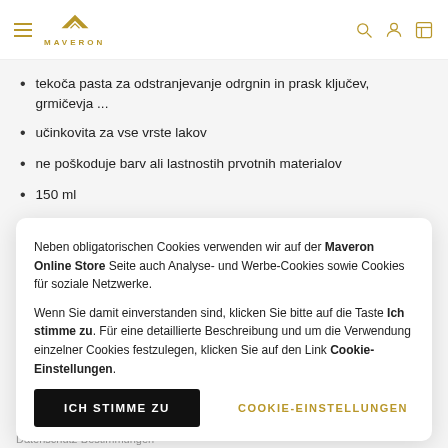MAVERON
tekoča pasta za odstranjevanje odrgnin in prask ključev, grmičevja ...
učinkovita za vse vrste lakov
ne poškoduje barv ali lastnostih prvotnih materialov
150 ml
Neben obligatorischen Cookies verwenden wir auf der Maveron Online Store Seite auch Analyse- und Werbe-Cookies sowie Cookies für soziale Netzwerke.
Wenn Sie damit einverstanden sind, klicken Sie bitte auf die Taste Ich stimme zu. Für eine detaillierte Beschreibung und um die Verwendung einzelner Cookies festzulegen, klicken Sie auf den Link Cookie-Einstellungen.
ICH STIMME ZU
COOKIE-EINSTELLUNGEN
Datenschutz-Bestimmungen